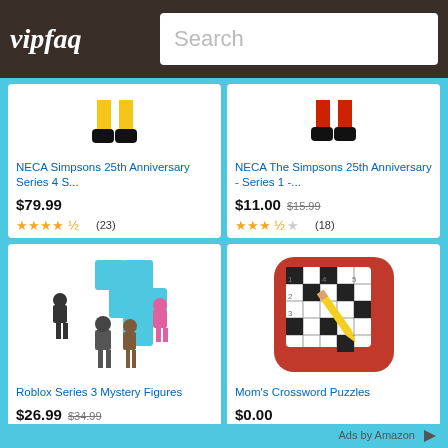vipfaq | Search
[Figure (screenshot): Product card: NECA Simpsons 25th Anniversary Series 4 S... Price $79.99, 4.5 stars (23 reviews)]
[Figure (screenshot): Product card: NECA The Simpsons 25th Anniversary - Series 1 -... Price $11.00 (was $15.99), 3.5 stars (18 reviews)]
[Figure (screenshot): Product card: Roblox Series 3 Mystery Figures. Price $26.99 (was $34.99), 3 stars (571 reviews)]
[Figure (screenshot): Product card: Mom's Crossword Puzzles. Price $0.00, 4 stars (754 reviews)]
Ads by Amazon